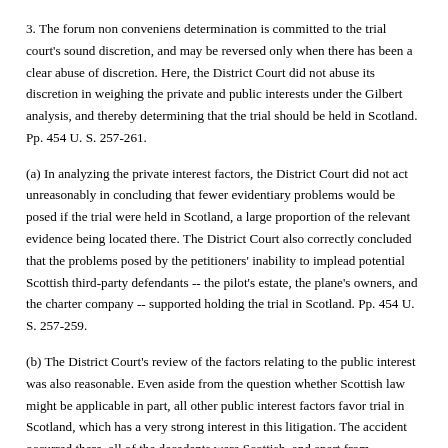3. The forum non conveniens determination is committed to the trial court's sound discretion, and may be reversed only when there has been a clear abuse of discretion. Here, the District Court did not abuse its discretion in weighing the private and public interests under the Gilbert analysis, and thereby determining that the trial should be held in Scotland. Pp. 454 U. S. 257-261.
(a) In analyzing the private interest factors, the District Court did not act unreasonably in concluding that fewer evidentiary problems would be posed if the trial were held in Scotland, a large proportion of the relevant evidence being located there. The District Court also correctly concluded that the problems posed by the petitioners' inability to implead potential Scottish third-party defendants -- the pilot's estate, the plane's owners, and the charter company -- supported holding the trial in Scotland. Pp. 454 U. S. 257-259.
(b) The District Court's review of the factors relating to the public interest was also reasonable. Even aside from the question whether Scottish law might be applicable in part, all other public interest factors favor trial in Scotland, which has a very strong interest in this litigation. The accident occurred there, all of the decedents were Scottish, and apart from petitioners, all potential parties are either Scottish or English. As to respondent's argument that American citizens have an interest in ensuring that American manufacturers are deterred from producing defective products and that additional deterrence might be obtained by trial in the United States where they could be sued on the basis of both negligence and strict liability, any incremental deterrence from trial in an American court is likely to be insignificant and is not sufficient to justify the enormous commitment of judicial time and resources that would be required. Pp. 454 U. S. 259-261.